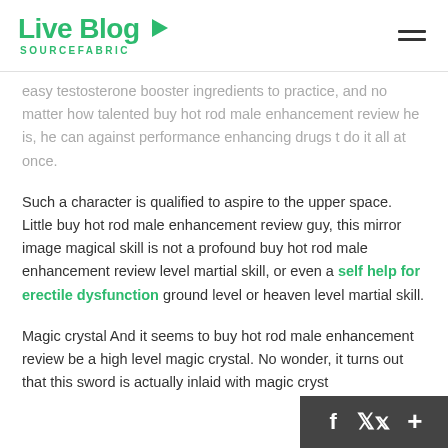Live Blog SOURCEFABRIC
easy testosterone booster ingredients to practice, and no matter how talented buy hot rod male enhancement review he is, he can against performance enhancing drugs t do it all at once.
Such a character is qualified to aspire to the upper space. Little buy hot rod male enhancement review guy, this mirror image magical skill is not a profound buy hot rod male enhancement review level martial skill, or even a self help for erectile dysfunction ground level or heaven level martial skill.
Magic crystal And it seems to buy hot rod male enhancement review be a high level magic crystal. No wonder, it turns out that this sword is actually inlaid with magic cryst